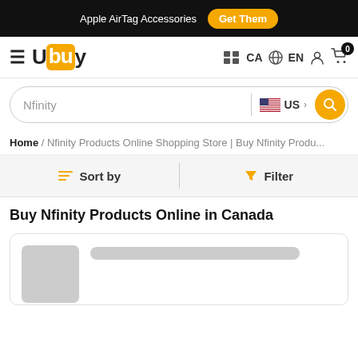Apple AirTag Accessories  Get Them
[Figure (logo): Ubuy logo with orange background on 'bu' letters]
CA  EN  [user icon]  [cart icon] 0
Nfinity  US [search button]
Home / Nfinity Products Online Shopping Store | Buy Nfinity Produ...
Sort by  Filter
Buy Nfinity Products Online in Canada
[Figure (screenshot): Product card skeleton loader with grey image placeholder and grey title bar]